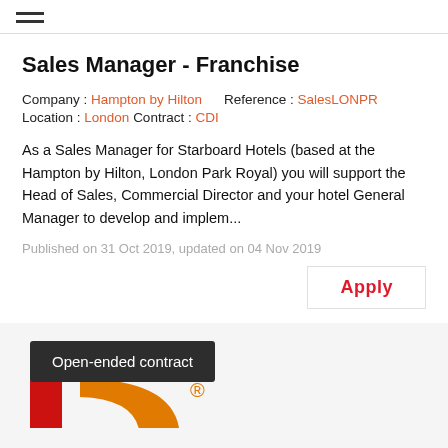≡ (hamburger menu)
Sales Manager - Franchise
Company : Hampton by Hilton   Reference : SalesLONPR
Location : London   Contract : CDI
As a Sales Manager for Starboard Hotels (based at the Hampton by Hilton, London Park Royal) you will support the Head of Sales, Commercial Director and your hotel General Manager to develop and implem...
Published on 31 Oct 2019, updated on 04 Nov 2019
Apply
Open-ended contract